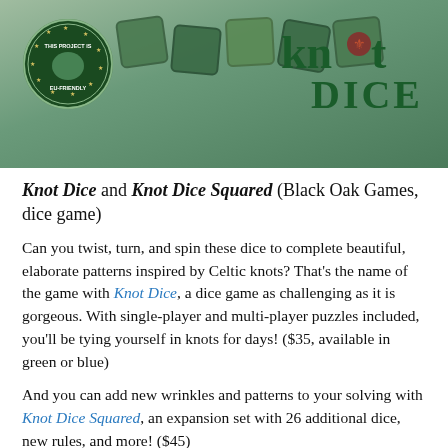[Figure (photo): Photo of green Celtic knot dice with EU-friendly badge on left and Knot Dice logo on right]
Knot Dice and Knot Dice Squared (Black Oak Games, dice game)
Can you twist, turn, and spin these dice to complete beautiful, elaborate patterns inspired by Celtic knots? That's the name of the game with Knot Dice, a dice game as challenging as it is gorgeous. With single-player and multi-player puzzles included, you'll be tying yourself in knots for days! ($35, available in green or blue)
And you can add new wrinkles and patterns to your solving with Knot Dice Squared, an expansion set with 26 additional dice, new rules, and more! ($45)